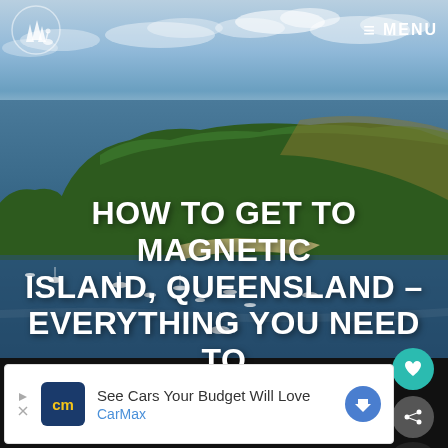[Figure (photo): Aerial photo of Magnetic Island, Queensland showing forested green hills, blue ocean water with sailboats anchored in a bay, and a partly cloudy sky at golden hour]
≡ MENU
HOW TO GET TO MAGNETIC ISLAND, QUEENSLAND – EVERYTHING YOU NEED TO KNOW
[Figure (other): Advertisement banner: CarMax – See Cars Your Budget Will Love]
[Figure (other): Teal circular heart/save button (favorite) and grey circular share button on right side]